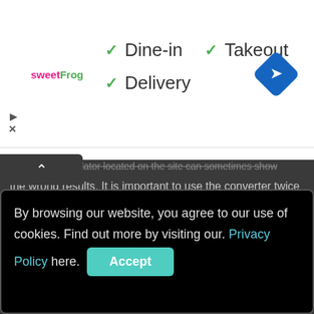[Figure (infographic): Ad banner for sweetFrog with dine-in, takeout, delivery checkmarks and navigation icon]
the wrong results. It is important to use the converter twice or even more to get the exact result. The Kg to Lbs conversion calculator is based on formulas which is not errorless. We do not take the responsibility for errors caused by converter.
Privacy
Contact
About
By browsing our website, you agree to our use of cookies. Find out more by visiting our. Privacy Policy here. [Accept button]